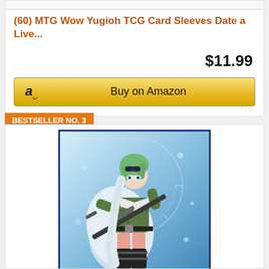(60) MTG Wow Yugioh TCG Card Sleeves Date a Live...
$11.99
Buy on Amazon
BESTSELLER NO. 3
[Figure (illustration): Anime character with green hair wearing a military-style green outfit, holding a sniper rifle, with a decorative circular design in the background on a blue/white background. Card sleeve artwork.]